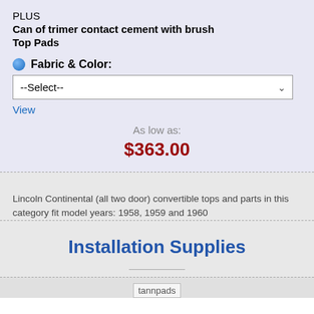PLUS
Can of trimer contact cement with brush
Top Pads
Fabric & Color:
--Select--
View
As low as:
$363.00
Lincoln Continental (all two door) convertible tops and parts in this category fit model years: 1958, 1959 and 1960
Installation Supplies
[Figure (other): tannpads image placeholder at bottom of page]